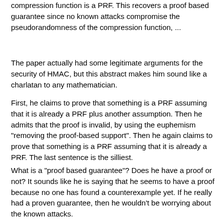compression function is a PRF. This recovers a proof based guarantee since no known attacks compromise the pseudorandomness of the compression function, ...
The paper actually had some legitimate arguments for the security of HMAC, but this abstract makes him sound like a charlatan to any mathematician.
First, he claims to prove that something is a PRF assuming that it is already a PRF plus another assumption. Then he admits that the proof is invalid, by using the euphemism "removing the proof-based support". Then he again claims to prove that something is a PRF assuming that it is already a PRF. The last sentence is the silliest.
What is a "proof based guarantee"? Does he have a proof or not? It sounds like he is saying that he seems to have a proof because no one has found a counterexample yet. If he really had a proven guarantee, then he wouldn't be worrying about the known attacks.